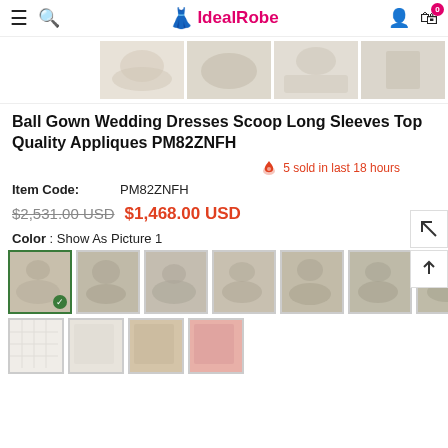IdealRobe
[Figure (photo): Four product thumbnail images of a ball gown wedding dress showing different detail views]
Ball Gown Wedding Dresses Scoop Long Sleeves Top Quality Appliques PM82ZNFH
5 sold in last 18 hours
Item Code: PM82ZNFH
$2,531.00 USD   $1,468.00 USD
Color : Show As Picture 1
[Figure (photo): Color selection thumbnails showing 7 large and 4 small variants of the ball gown wedding dress]